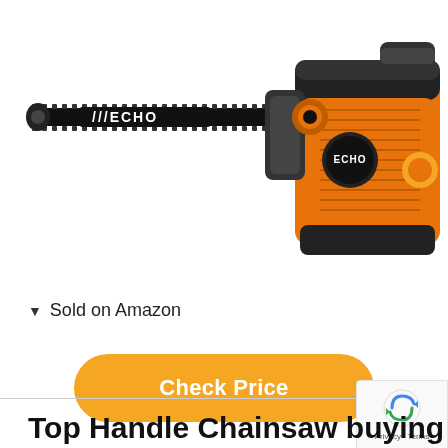[Figure (photo): ECHO branded orange and black top-handle chainsaw with chain bar extending to the left, viewed from front-right angle. The chainsaw body is orange with black accents and features the ECHO logo on both the bar and the engine housing.]
▼  Sold on Amazon
Check Price
Top Handle Chainsaw buying